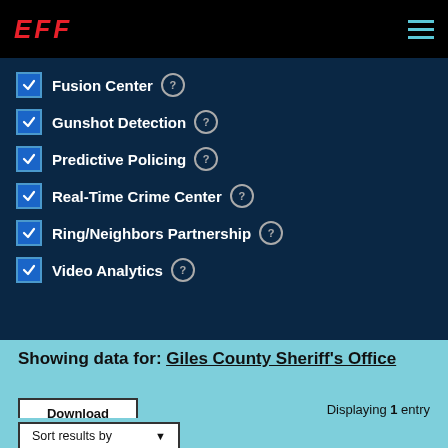EFF
Fusion Center
Gunshot Detection
Predictive Policing
Real-Time Crime Center
Ring/Neighbors Partnership
Video Analytics
Showing data for: Giles County Sheriff's Office
Download
Displaying 1 entry
Sort results by